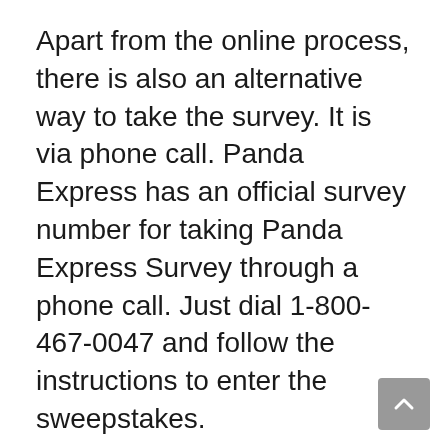Apart from the online process, there is also an alternative way to take the survey. It is via phone call. Panda Express has an official survey number for taking Panda Express Survey through a phone call. Just dial 1-800-467-0047 and follow the instructions to enter the sweepstakes.
There will be a questionnaire session, and you need to select your answer by selecting 1-10. This process is simple and easy. Once you complete the survey, they will provide you with the coupon code you need to write